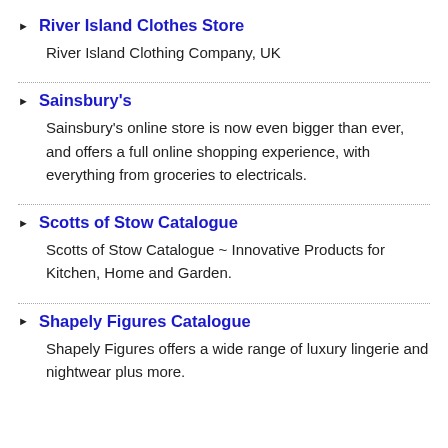River Island Clothes Store
River Island Clothing Company, UK
Sainsbury's
Sainsbury's online store is now even bigger than ever, and offers a full online shopping experience, with everything from groceries to electricals.
Scotts of Stow Catalogue
Scotts of Stow Catalogue ~ Innovative Products for Kitchen, Home and Garden.
Shapely Figures Catalogue
Shapely Figures offers a wide range of luxury lingerie and nightwear plus more.